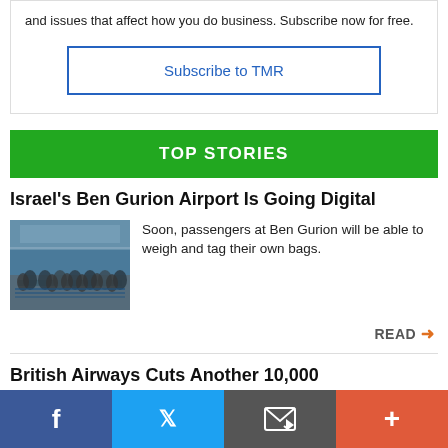and issues that affect how you do business. Subscribe now for free.
Subscribe to TMR
TOP STORIES
Israel's Ben Gurion Airport Is Going Digital
[Figure (photo): Crowd of passengers at Ben Gurion Airport terminal]
Soon, passengers at Ben Gurion will be able to weigh and tag their own bags.
READ →
British Airways Cuts Another 10,000
Facebook  Twitter  Email  +